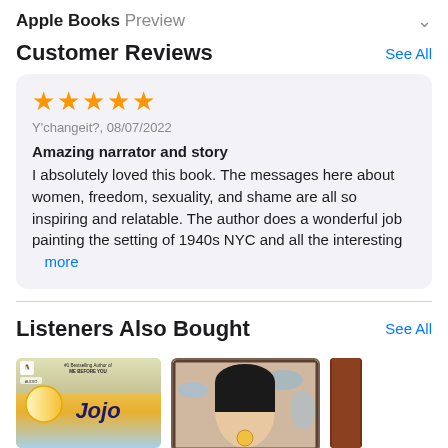Apple Books Preview
Customer Reviews
Y'changeit?, 08/07/2022
Amazing narrator and story
I absolutely loved this book. The messages here about women, freedom, sexuality, and shame are all so inspiring and relatable. The author does a wonderful job painting the setting of 1940s NYC and all the interesting more
Listeners Also Bought
[Figure (photo): Book cover for Jojo Moyes audiobook with yellow/sky background and Jojo text]
[Figure (photo): Book cover showing a portrait of a woman's face with birds]
[Figure (photo): Partially visible book cover on the right edge]